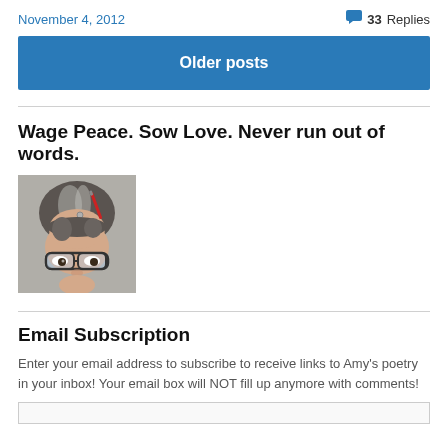November 4, 2012
💬 33 Replies
Older posts
Wage Peace. Sow Love. Never run out of words.
[Figure (photo): A person with gray-streaked hair and glasses, peeking upward, with a red pen visible near their hair.]
Email Subscription
Enter your email address to subscribe to receive links to Amy's poetry in your inbox! Your email box will NOT fill up anymore with comments!